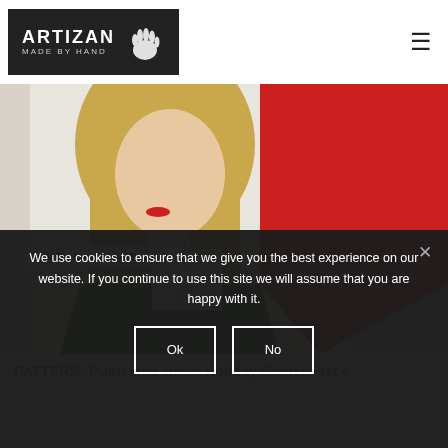[Figure (logo): Artizan Made By Hand logo — dark background box with white text ARTIZAN MADE BY HAND and a hand print icon]
[Figure (photo): Woman with blonde hair wearing a green top and red hat/scarf, partially visible, cropped photo used as hero image]
Sold By Laura Lee Burch
Visit My Shop
PATTERN: Poinsettia Hat & Holiday Center Piece
We use cookies to ensure that we give you the best experience on our website. If you continue to use this site we will assume that you are happy with it.
Ok
No